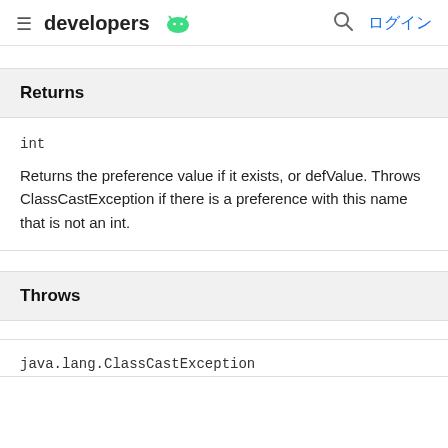≡ developers 🤖 🔍 ログイン
Returns
int
Returns the preference value if it exists, or defValue. Throws ClassCastException if there is a preference with this name that is not an int.
Throws
java.lang.ClassCastException